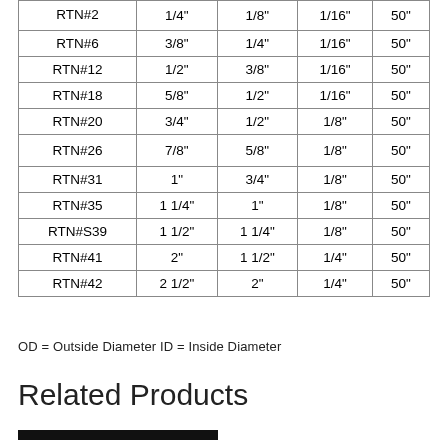| RTN#2 | 1/4" | 1/8" | 1/16" | 50" |
| RTN#6 | 3/8" | 1/4" | 1/16" | 50" |
| RTN#12 | 1/2" | 3/8" | 1/16" | 50" |
| RTN#18 | 5/8" | 1/2" | 1/16" | 50" |
| RTN#20 | 3/4" | 1/2" | 1/8" | 50" |
| RTN#26 | 7/8" | 5/8" | 1/8" | 50" |
| RTN#31 | 1" | 3/4" | 1/8" | 50" |
| RTN#35 | 1 1/4" | 1" | 1/8" | 50" |
| RTN#S39 | 1 1/2" | 1 1/4" | 1/8" | 50" |
| RTN#41 | 2" | 1 1/2" | 1/4" | 50" |
| RTN#42 | 2 1/2" | 2" | 1/4" | 50" |
OD = Outside Diameter ID = Inside Diameter
Related Products